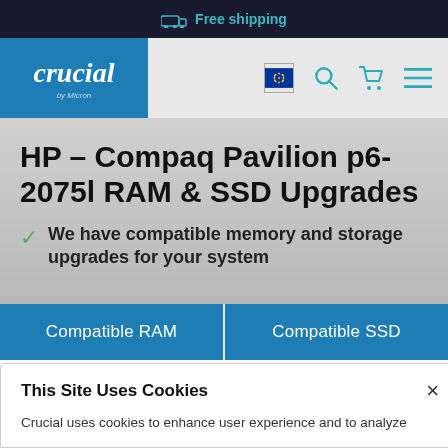Free shipping
[Figure (logo): Crucial by Micron logo - white text on teal/blue background]
HP – Compaq Pavilion p6-2075l RAM & SSD Upgrades
We have compatible memory and storage upgrades for your system
Compatible RAM
Compatible SSD
This Site Uses Cookies
Crucial uses cookies to enhance user experience and to analyze